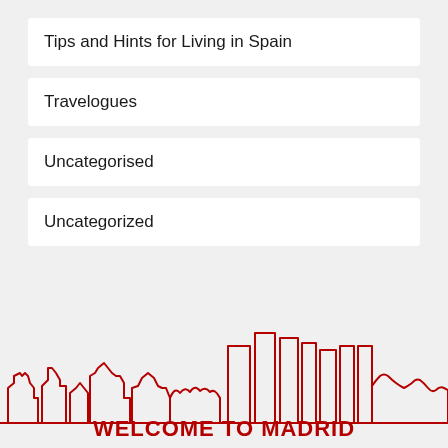Tips and Hints for Living in Spain
Travelogues
Uncategorised
Uncategorized
[Figure (illustration): Red outline skyline illustration of Madrid city buildings with 'WELCOME TO MADRID' text below in bold red capitals]
WELCOME TO MADRID